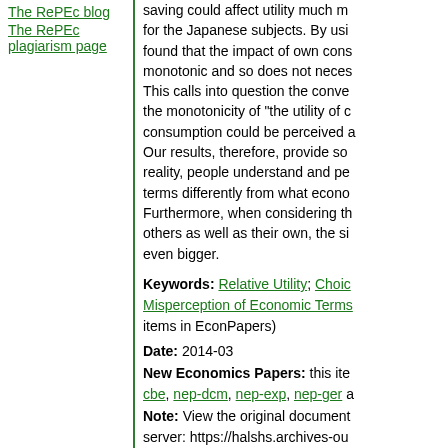The RePEc blog
The RePEc plagiarism page
saving could affect utility much m... for the Japanese subjects. By usi... found that the impact of own cons... monotonic and so does not neces... This calls into question the conve... the monotonicity of "the utility of c... consumption could be perceived a... Our results, therefore, provide so... reality, people understand and pe... terms differently from what econo... Furthermore, when considering th... others as well as their own, the si... even bigger.
Keywords: Relative Utility; Choic... Misperception of Economic Terms... items in EconPapers)
Date: 2014-03
New Economics Papers: this ite... cbe, nep-dcm, nep-exp, nep-ger a...
Note: View the original document... server: https://halshs.archives-ou... 00965671
References: View references in E... complete reference list from CitEc...
Citations: Track citations by RSS
Downloads: (external link) https://halshs.archives-ouvertes...